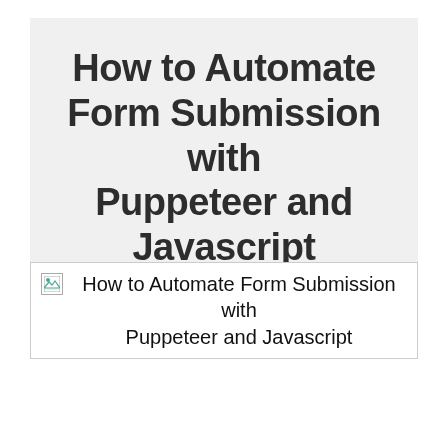How to Automate Form Submission with Puppeteer and Javascript
[Figure (illustration): Broken image placeholder with alt text: How to Automate Form Submission with Puppeteer and Javascript]